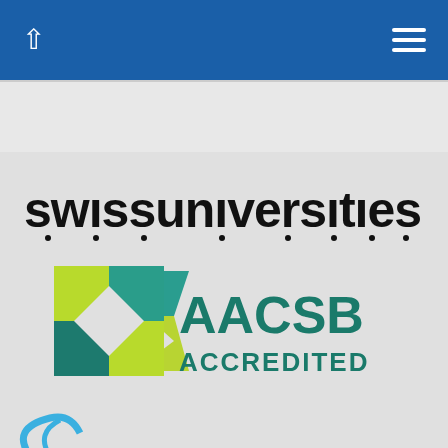[Figure (screenshot): Blue navigation bar with white up-arrow icon on the left and white hamburger menu icon on the right]
Folgen Sie uns
[Figure (logo): swissuniversities logo — bold black lowercase text with dotted underline accents]
[Figure (logo): AACSB ACCREDITED logo — square geometric icon in teal and green colors with AACSB ACCREDITED text in dark teal]